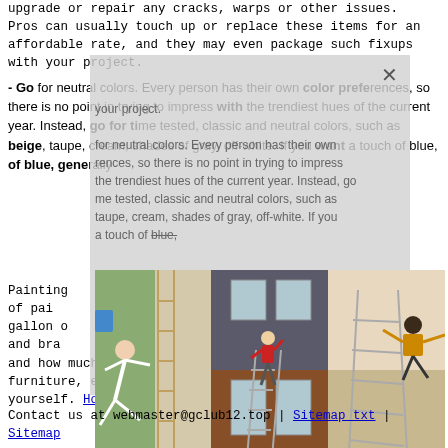upgrade or repair any cracks, warps or other issues. Pros can usually touch up or replace these items for an affordable rate, and they may even package such fixups with your project.
- Go for neutral colors. Every person has their own color preferences, so there is no point in trying to impress with the trendiest hues of the current year. Instead, go for time tested, classic and neutral colors, such as beige, taupe, cream, shades of gray, off-white. If you want a touch of blue, generally
[Figure (photo): Three photos side by side showing people in acrobatic/dangerous positions near houses and ladders]
Painting costs depend on the type of paint and the cost. A gallon of quality and brand, per foot, and how much you can save by doing prep work (moving furniture, etc.) yourself. House Painting Aurora Colorado
Contact us at webmaster@gclub12.top | Sitemap txt | Sitemap